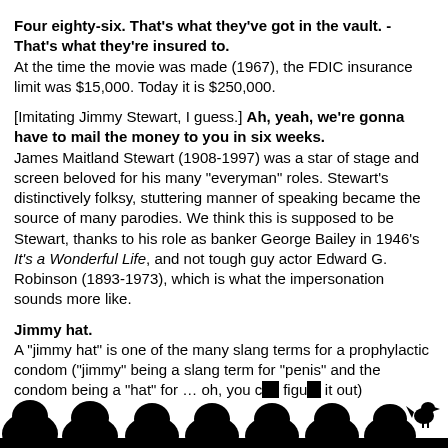Four eighty-six. That's what they've got in the vault. - That's what they're insured to. At the time the movie was made (1967), the FDIC insurance limit was $15,000. Today it is $250,000.
[Imitating Jimmy Stewart, I guess.] Ah, yeah, we're gonna have to mail the money to you in six weeks. James Maitland Stewart (1908-1997) was a star of stage and screen beloved for his many "everyman" roles. Stewart's distinctively folksy, stuttering manner of speaking became the source of many parodies. We think this is supposed to be Stewart, thanks to his role as banker George Bailey in 1946's It's a Wonderful Life, and not tough guy actor Edward G. Robinson (1893-1973), which is what the impersonation sounds more like.
Jimmy hat. A "jimmy hat" is one of the many slang terms for a prophylactic condom ("jimmy" being a slang term for "penis" and the condom being a "hat" for ... oh, you can figure it out)
[Figure (illustration): Silhouette of audience heads at the bottom of the page, with a small bird/creature silhouette on the right side]